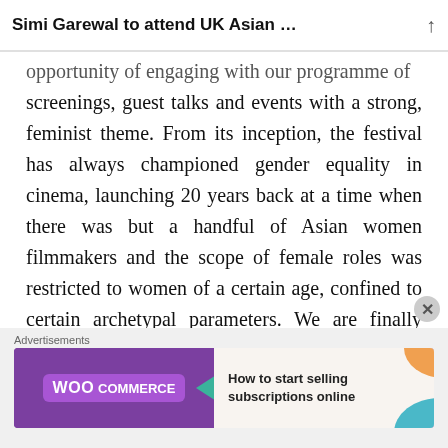Simi Garewal to attend UK Asian …
opportunity of engaging with our programme of screenings, guest talks and events with a strong, feminist theme. From its inception, the festival has always championed gender equality in cinema, launching 20 years back at a time when there was but a handful of Asian women filmmakers and the scope of female roles was restricted to women of a certain age, confined to certain archetypal parameters. We are finally seeing a shift in this, as women continue to create a space for themselves in South Asian cinema, redefining and expanding their roles both in front of and behind the camer…
Advertisements
[Figure (screenshot): WooCommerce advertisement banner: purple background with WooCommerce logo, teal arrow graphic, and text 'How to start selling subscriptions online' with orange and teal decorative leaf shapes on the right.]